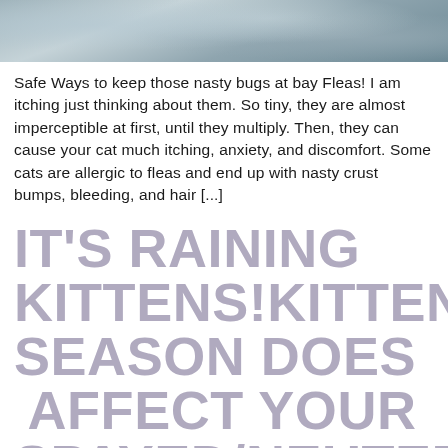[Figure (photo): Partial photo of a cat, cropped to show only the top portion, with muted blue-grey tones.]
Safe Ways to keep those nasty bugs at bay Fleas! I am itching just thinking about them. So tiny, they are almost imperceptible at first, until they multiply. Then, they can cause your cat much itching, anxiety, and discomfort. Some cats are allergic to fleas and end up with nasty crust bumps, bleeding, and hair [...]
IT'S RAINING KITTENS!KITTEN SEASON DOES AFFECT YOUR SPAYED/NEUTERED CATS